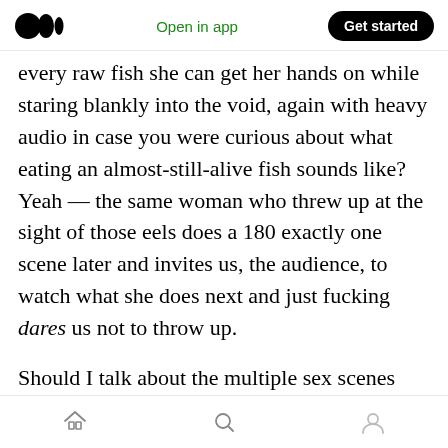Medium logo | Open in app | Get started
every raw fish she can get her hands on while staring blankly into the void, again with heavy audio in case you were curious about what eating an almost-still-alive fish sounds like? Yeah — the same woman who threw up at the sight of those eels does a 180 exactly one scene later and invites us, the audience, to watch what she does next and just fucking dares us not to throw up.
Should I talk about the multiple sex scenes that feature a child? (Spoiler: no. I'm not going there because it's just a whole other thing and you can Google "tin drum movie controversy" and read
Home | Search | Profile